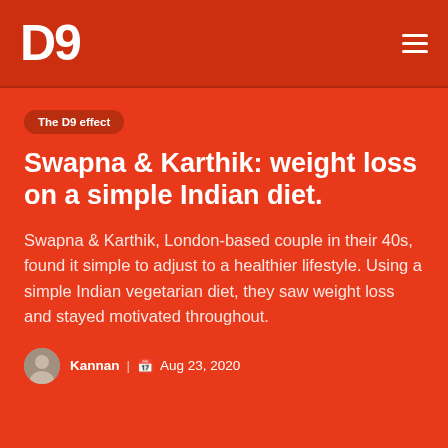D9
The D9 effect
Swapna & Karthik: weight loss on a simple Indian diet.
Swapna & Karthik, London-based couple in their 40s, found it simple to adjust to a healthier lifestyle. Using a simple Indian vegetarian diet, they saw weight loss and stayed motivated throughout.
Kannan | Aug 23, 2020